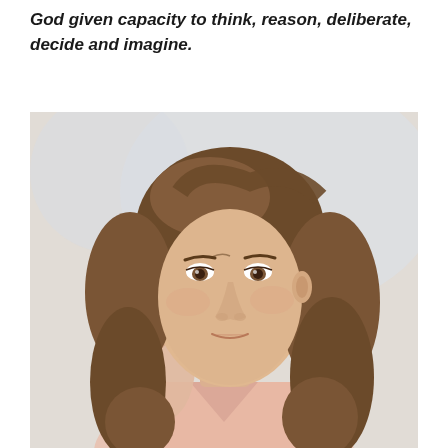God given capacity to think, reason, deliberate, decide and imagine.
[Figure (photo): A young woman with brown wavy hair resting her hand against her temple, looking at the camera with a thoughtful or concerned expression. She is wearing a light pink blouse. The background is light grey/white.]